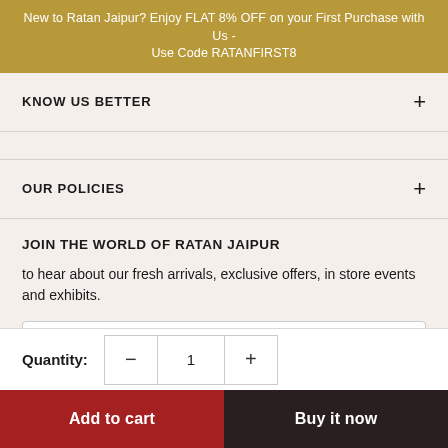New to Ratan Jaipur? Enjoy FLAT 8% OFF on your First Purchase with Us - Use Code RATANFIRST8
KNOW US BETTER
OUR POLICIES
JOIN THE WORLD OF RATAN JAIPUR
to hear about our fresh arrivals, exclusive offers, in store events and exhibits.
Your email
Subscribe
Quantity: 1
Add to cart
Buy it now